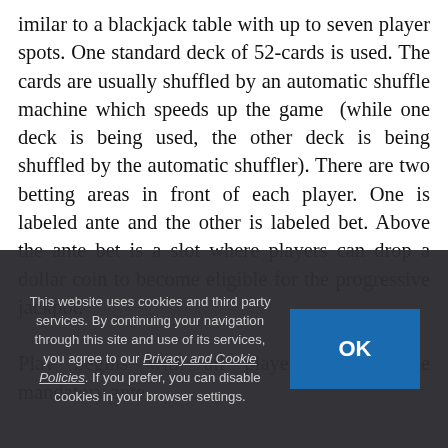similar to a blackjack table with up to seven player spots. One standard deck of 52-cards is used. The cards are usually shuffled by an automatic shuffle machine which speeds up the game (while one deck is being used, the other deck is being shuffled by the automatic shuffler). There are two betting areas in front of each player. One is labeled ante and the other is labeled bet. Above the ante bet is a slot where players can drop a dollar coin to become eligible for the progressive jackpot.

Play begins with all players making the mandatory ante
This website uses cookies and third party services. By continuing your navigation through this site and use of its services, you agree to our Privacy and Cookie Policies. If you prefer, you can disable cookies in your browser settings.
OK